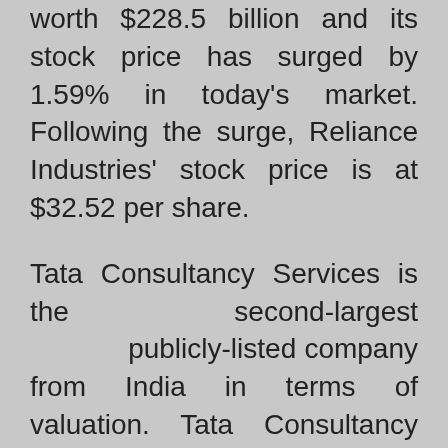worth $228.5 billion and its stock price has surged by 1.59% in today's market. Following the surge, Reliance Industries' stock price is at $32.52 per share.
Tata Consultancy Services is the second-largest publicly-listed company from India in terms of valuation. Tata Consultancy Services reportedly has a market valuation worth $176.38 billion and its stock price has plummeted by 0.69% in today's market. Following the plummet, Tata Consultancy Services' stock price is at $47.68 per share.
HDFC Bank is the third-largest